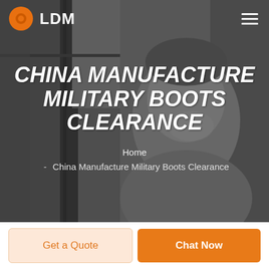[Figure (photo): Grayscale background photo of a smiling man with a website navigation header overlay; LDM logo on the left and hamburger menu icon on the right.]
CHINA MANUFACTURE MILITARY BOOTS CLEARANCE
Home
- China Manufacture Military Boots Clearance
Get a Quote
Chat Now